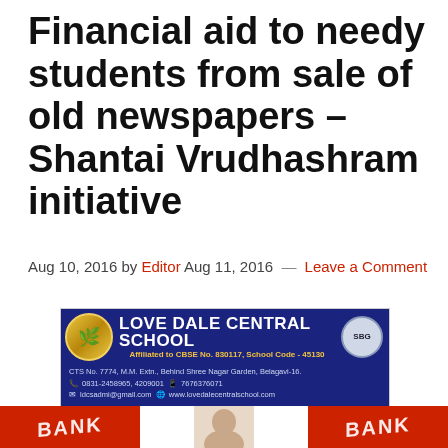Financial aid to needy students from sale of old newspapers – Shantai Vrudhashram initiative
Aug 10, 2016 by Editor Aug 11, 2016 — Leave a Comment
[Figure (photo): Love Dale Central School advertisement banner. Blue background with school logo (circular emblem with leaf), school name 'LOVE DALE CENTRAL SCHOOL', affiliated to CBSE No. 830117, School Code 45130. Address: CTS No. 7774, M.M. Extn., Behind Shree Nagar Garden, Belagavi-16. Phone: 0831-2458965, 4209001. Mobile: 7676376071. Email: ldcsadmi@gmail.com. Website: www.lovedalecentralschool.com]
[Figure (photo): Belagavi Tech Meetup, 2022 advertisement. Thumbnail with purple/pink gradient background. Title: 'Belagavi Tech Meetup, 2022'. Description: 'Anyone with an interest or backdrop of Tech and connection to Belagavi,'. Source: UXgrowth]
[Figure (photo): Bottom red banner advertisement with 'BANK' text on red background and a person's face in the center]